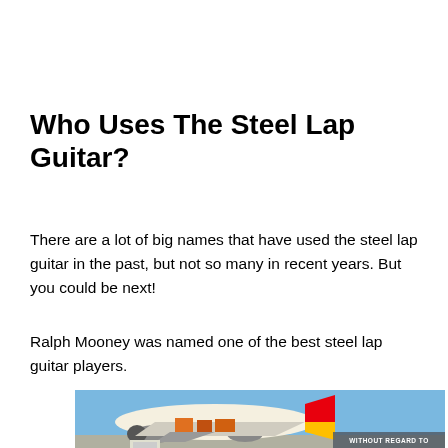Who Uses The Steel Lap Guitar?
There are a lot of big names that have used the steel lap guitar in the past, but not so many in recent years. But you could be next!
Ralph Mooney was named one of the best steel lap guitar players.
[Figure (photo): Advertisement image showing an airplane being loaded with cargo on the tarmac, with a gray overlay banner reading 'WITHOUT REGARD TO POLITICS, RELIGION, OR ABILITY TO PAY']